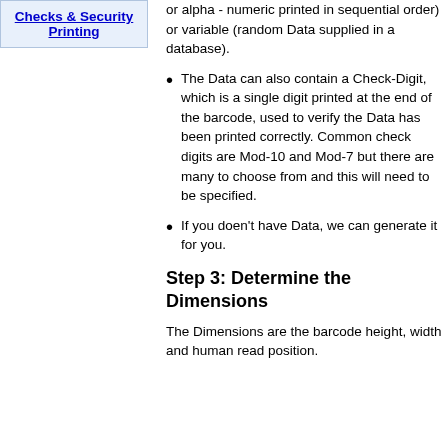Checks & Security Printing
or alpha - numeric printed in sequential order) or variable (random Data supplied in a database).
The Data can also contain a Check-Digit, which is a single digit printed at the end of the barcode, used to verify the Data has been printed correctly. Common check digits are Mod-10 and Mod-7 but there are many to choose from and this will need to be specified.
If you doen't have Data, we can generate it for you.
Step 3: Determine the Dimensions
The Dimensions are the barcode height, width and human read position.